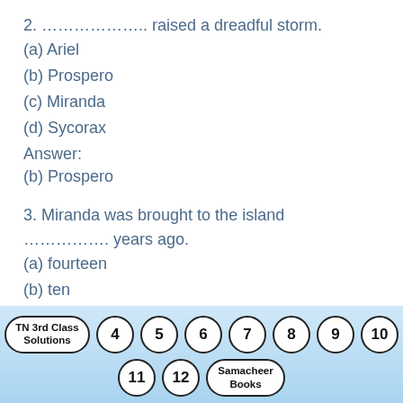2. ……………….. raised a dreadful storm.
(a) Ariel
(b) Prospero
(c) Miranda
(d) Sycorax
Answer:
(b) Prospero
3. Miranda was brought to the island ……………. years ago.
(a) fourteen
(b) ten
(c) twelve
TN 3rd Class Solutions  4  5  6  7  8  9  10  11  12  Samacheer Books